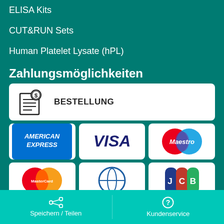ELISA Kits
CUT&RUN Sets
Human Platelet Lysate (hPL)
Zahlungsmöglichkeiten
[Figure (screenshot): BESTELLUNG icon with invoice/order symbol and dollar sign]
[Figure (logo): American Express logo - blue background with white text]
[Figure (logo): VISA logo - blue text on white]
[Figure (logo): Maestro logo - red and blue circles with white text]
[Figure (logo): MasterCard logo - red and orange overlapping circles]
[Figure (logo): Diners Club / generic card logo - blue circle with white stripe]
[Figure (logo): JCB logo - blue, red, green vertical stripes with JCB text]
Speichern / Teilen
Kundenservice